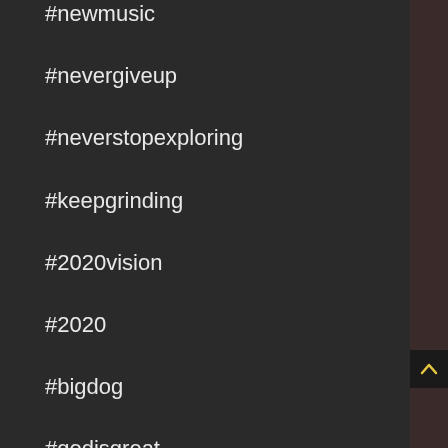#newmusic
#nevergiveup
#neverstopexploring
#keepgrinding
#2020vision
#2020
#bigdog
#godisgreat
#mystory